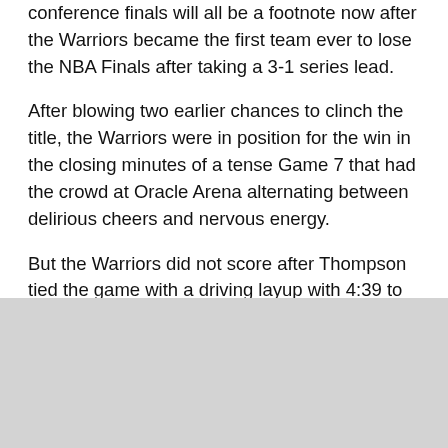conference finals will all be a footnote now after the Warriors became the first team ever to lose the NBA Finals after taking a 3-1 series lead.
After blowing two earlier chances to clinch the title, the Warriors were in position for the win in the closing minutes of a tense Game 7 that had the crowd at Oracle Arena alternating between delirious cheers and nervous energy.
But the Warriors did not score after Thompson tied the game with a driving layup with 4:39 to play. Golden State missed its final nine shots with LeBron James coming out of nowhere to block what seemed like an uncontested go-ahead layup by Andre Iguodala with less than two minutes